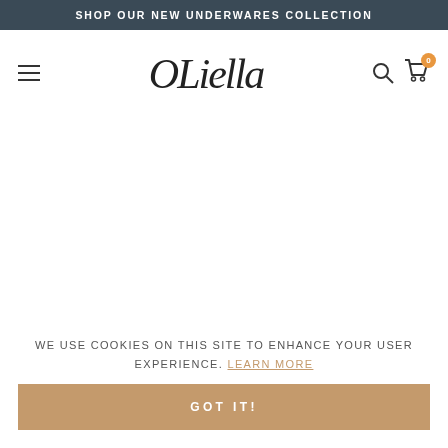SHOP OUR NEW UNDERWARES COLLECTION
[Figure (logo): OLiella handwritten script logo in the center of the navigation bar]
WE USE COOKIES ON THIS SITE TO ENHANCE YOUR USER EXPERIENCE. LEARN MORE
GOT IT!